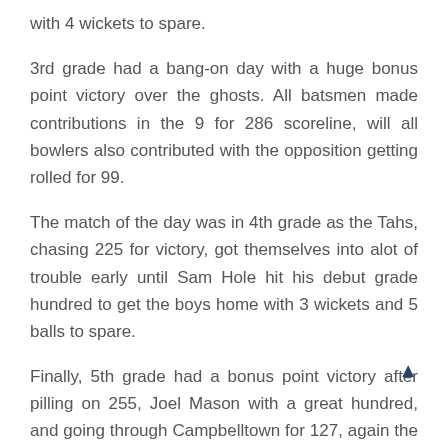with 4 wickets to spare.
3rd grade had a bang-on day with a huge bonus point victory over the ghosts. All batsmen made contributions in the 9 for 286 scoreline, will all bowlers also contributed with the opposition getting rolled for 99.
The match of the day was in 4th grade as the Tahs, chasing 225 for victory, got themselves into alot of trouble early until Sam Hole hit his debut grade hundred to get the boys home with 3 wickets and 5 balls to spare.
Finally, 5th grade had a bonus point victory after pilling on 255, Joel Mason with a great hundred, and going through Campbelltown for 127, again the wickets being shared.
So at the end of Round 10, exactly 2/3's through the